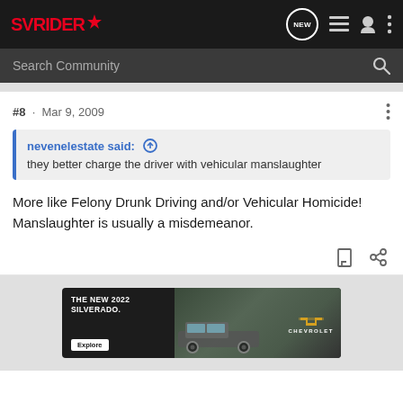SVRIDER
Search Community
#8 · Mar 9, 2009
nevenelestate said: ⊕
they better charge the driver with vehicular manslaughter
More like Felony Drunk Driving and/or Vehicular Homicide! Manslaughter is usually a misdemeanor.
[Figure (screenshot): Chevrolet Silverado 2022 advertisement banner at the bottom of the page]